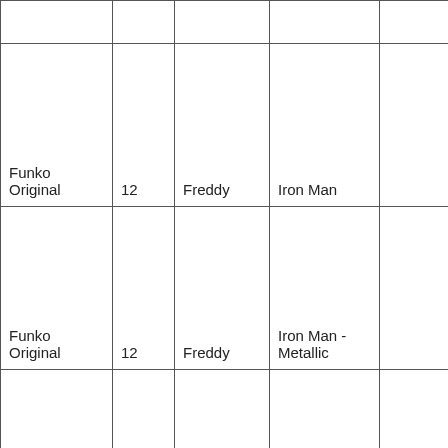|  |  |  |  |  |
| Funko Original | 12 | Freddy | Iron Man |  |
| Funko Original | 12 | Freddy | Iron Man - Metallic |  |
| Funko Original | 23 | Freddy | Joker |  |